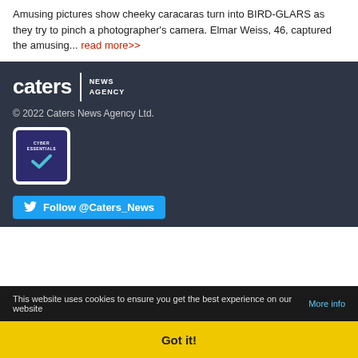Amusing pictures show cheeky caracaras turn into BIRD-GLARS as they try to pinch a photographer's camera. Elmar Weiss, 46, captured the amusing... read more>>
[Figure (logo): Caters News Agency logo — white text on dark background]
© 2022 Caters News Agency Ltd.
[Figure (logo): Cyber Essentials badge with checkmark on dark purple background]
Follow @Caters_News (Twitter button)
This website uses cookies to ensure you get the best experience on our website More info
Got it!